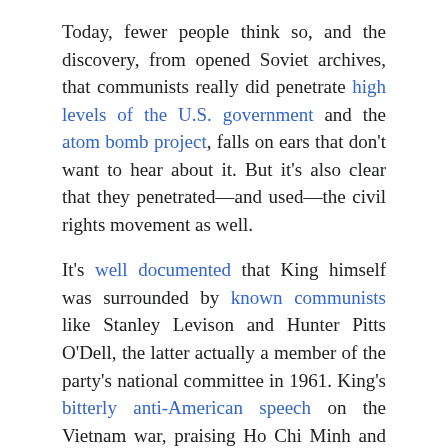Today, fewer people think so, and the discovery, from opened Soviet archives, that communists really did penetrate high levels of the U.S. government and the atom bomb project, falls on ears that don't want to hear about it. But it's also clear that they penetrated—and used—the civil rights movement as well.
It's well documented that King himself was surrounded by known communists like Stanley Levison and Hunter Pitts O'Dell, the latter actually a member of the party's national committee in 1961. King's bitterly anti-American speech on the Vietnam war, praising Ho Chi Minh and comparing American soldiers to Nazi storm troopers, in 1967 was written by Levison, whose influence on King was the main reason for FBI surveillance of him.
Today, Americans have been so brainwashed by the propaganda of the left, communist or not, that they're likely to regard the Reds in the civil rights movement as...